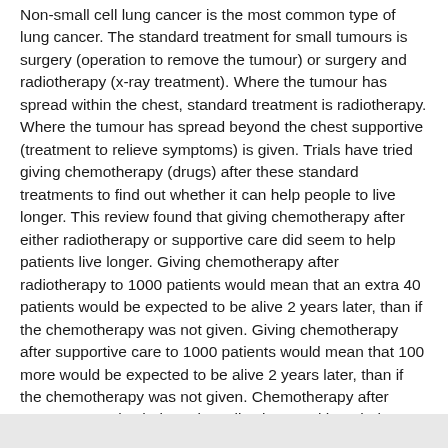Non-small cell lung cancer is the most common type of lung cancer. The standard treatment for small tumours is surgery (operation to remove the tumour) or surgery and radiotherapy (x-ray treatment). Where the tumour has spread within the chest, standard treatment is radiotherapy. Where the tumour has spread beyond the chest supportive (treatment to relieve symptoms) is given. Trials have tried giving chemotherapy (drugs) after these standard treatments to find out whether it can help people to live longer. This review found that giving chemotherapy after either radiotherapy or supportive care did seem to help patients live longer. Giving chemotherapy after radiotherapy to 1000 patients would mean that an extra 40 patients would be expected to be alive 2 years later, than if the chemotherapy was not given. Giving chemotherapy after supportive care to 1000 patients would mean that 100 more would be expected to be alive 2 years later, than if the chemotherapy was not given. Chemotherapy after surgery may also help patients live longer although the evidence to support this is less clear.